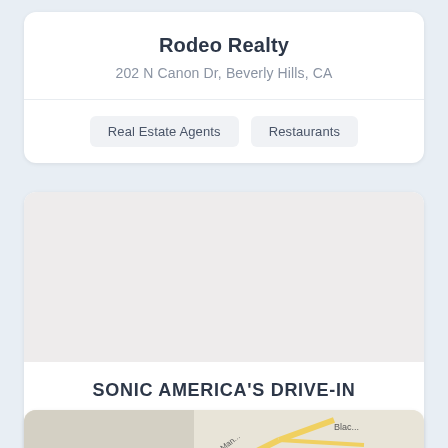Rodeo Realty
202 N Canon Dr, Beverly Hills, CA
Real Estate Agents
Restaurants
[Figure (other): Placeholder image area, light gray background for Sonic America's Drive-In listing]
SONIC AMERICA'S DRIVE-IN
8777 Overland, Boise, ID
Restaurants
[Figure (map): Partial map view showing road lines in yellow, partially visible at bottom of page]